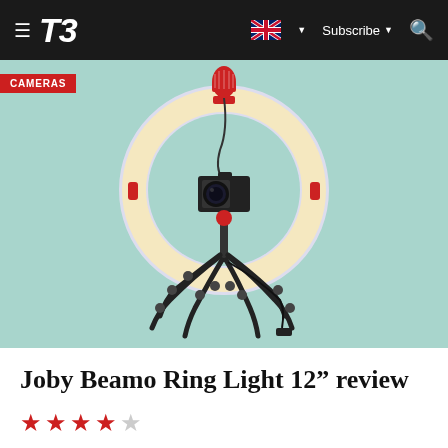T3 — Subscribe
[Figure (photo): Joby Beamo Ring Light 12 inch product photo on teal background, showing the ring light mounted on a flexible Joby tripod with a camera and red microphone attached]
CAMERAS
Joby Beamo Ring Light 12” review
3.5 out of 5 stars rating